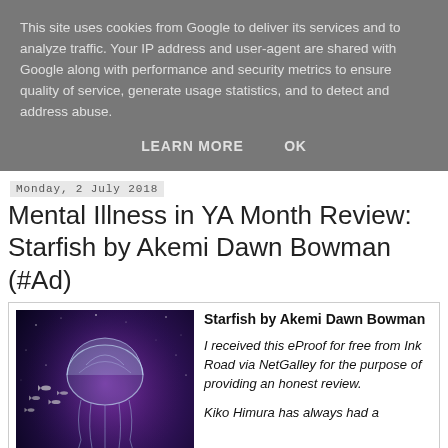This site uses cookies from Google to deliver its services and to analyze traffic. Your IP address and user-agent are shared with Google along with performance and security metrics to ensure quality of service, generate usage statistics, and to detect and address abuse.
LEARN MORE   OK
Monday, 2 July 2018
Mental Illness in YA Month Review: Starfish by Akemi Dawn Bowman (#Ad)
Starfish by Akemi Dawn Bowman
I received this eProof for free from Ink Road via NetGalley for the purpose of providing an honest review.
Kiko Himura has always had a
[Figure (photo): Book cover of Starfish by Akemi Dawn Bowman, showing a jellyfish and fish against a purple/blue space-like background with the title 'Starfish' in white script]